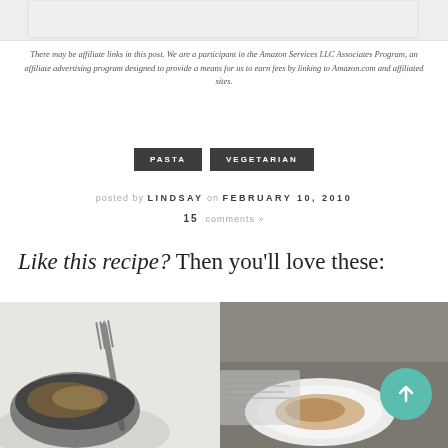[Figure (photo): Top portion of a cropped food photo (partial, mostly white/light grey)]
There may be affiliate links in this post. We are a participant in the Amazon Services LLC Associates Program, an affiliate advertising program designed to provide a means for us to earn fees by linking to Amazon.com and affiliated sites.
PASTA
VEGETARIAN
posted by LINDSAY on FEBRUARY 10, 2010
15 comments »
Like this recipe? Then you'll love these:
[Figure (photo): Partial food photo on left showing a fork and dark bowl with food, light background]
[Figure (photo): Partial food photo on right showing a plate of food on a grey surface, with a teal scroll-to-top arrow button overlay]